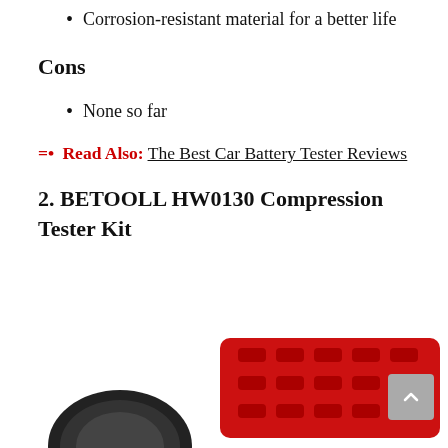Corrosion-resistant material for a better life
Cons
None so far
=• Read Also: The Best Car Battery Tester Reviews
2. BETOOLL HW0130 Compression Tester Kit
[Figure (photo): Product photo of BETOOLL HW0130 Compression Tester Kit showing a red plastic tray with tool slots and a black circular component]